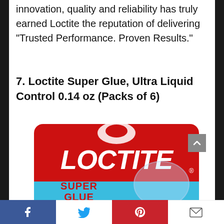innovation, quality and reliability has truly earned Loctite the reputation of delivering “Trusted Performance. Proven Results.”
7. Loctite Super Glue, Ultra Liquid Control 0.14 oz (Packs of 6)
[Figure (photo): Loctite Super Glue Ultra Liquid Control product packaging in red blister pack with blue bottom strip showing SUPER GLUE text]
Facebook | Twitter | Pinterest | Email share icons